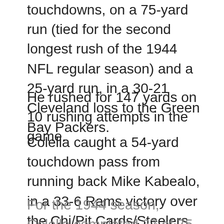touchdowns, on a 75-yard run (tied for the second longest rush of the 1944 NFL regular season) and a 25-yard run, in a 30-21 Cleveland loss to the Green Bay Packers.
He rushed for 147 yards on 10 rushing attempts in the game.
Colella caught a 54-yard touchdown pass from running back Mike Kabealo, in a 33-6 Rams victory over the Chi/Pit Cards/Steelers on November 19, 1944.
For the 1944 season, Colella completed 27 of 75 passes for 336 yards and four